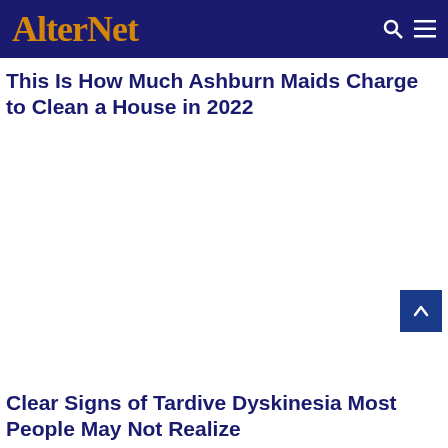AlterNet
This Is How Much Ashburn Maids Charge to Clean a House in 2022
Clear Signs of Tardive Dyskinesia Most People May Not Realize